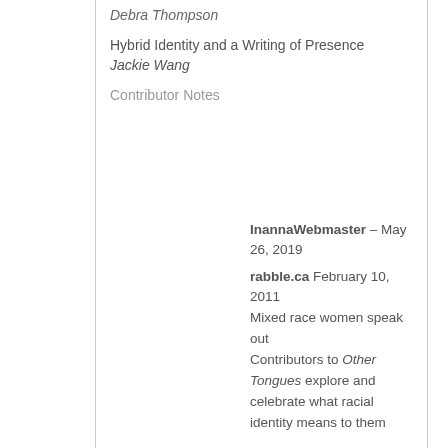Debra Thompson
Hybrid Identity and a Writing of Presence
Jackie Wang
Contributor Notes
InannaWebmaster – May 26, 2019
rabble.ca February 10, 2011 Mixed race women speak out Contributors to Other Tongues explore and celebrate what racial identity means to them
“In the past 20 years Canada has seen a few mixed race anthologies that reflect both